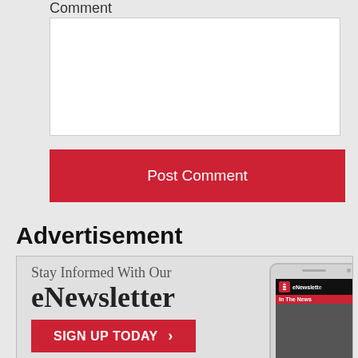Comment
[Figure (screenshot): Comment text area input box (white, empty)]
[Figure (screenshot): Post Comment button — red background with white text]
Advertisement
[Figure (infographic): eNewsletter advertisement banner: 'Stay Informed With Our eNewsletter' with a red SIGN UP TODAY button and a phone mockup showing the eNewsletter and In The News sections]